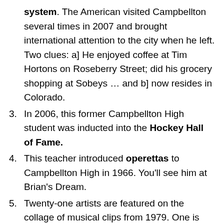(continuation) system. The American visited Campbellton several times in 2007 and brought international attention to the city when he left. Two clues: a] He enjoyed coffee at Tim Hortons on Roseberry Street; did his grocery shopping at Sobeys … and b] now resides in Colorado.
3. In 2006, this former Campbellton High student was inducted into the Hockey Hall of Fame.
4. This teacher introduced operettas to Campbellton High in 1966. You'll see him at Brian's Dream.
5. Twenty-one artists are featured on the collage of musical clips from 1979. One is from Campbellton. And that is …
6. Where did Brian ['Fish'] MacNeish get that crazy nickname?
7. The 'Romeo and Juliette' ferry that ran between Campbellton and Cross Point got its name from the